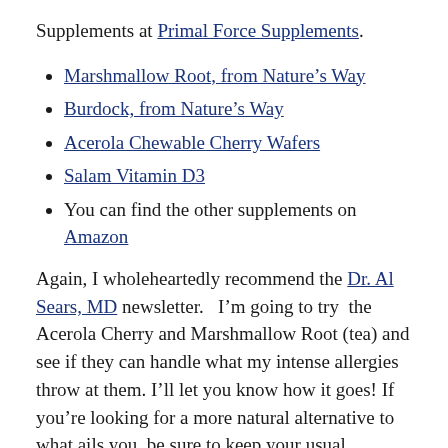Supplements at Primal Force Supplements.
Marshmallow Root, from Nature's Way
Burdock, from Nature's Way
Acerola Chewable Cherry Wafers
Salam Vitamin D3
You can find the other supplements on Amazon
Again, I wholeheartedly recommend the Dr. Al Sears, MD newsletter.   I'm going to try  the Acerola Cherry and Marshmallow Root (tea) and see if they can handle what my intense allergies throw at them. I'll let you know how it goes! If you're looking for a more natural alternative to what ails you, be sure to keep your usual